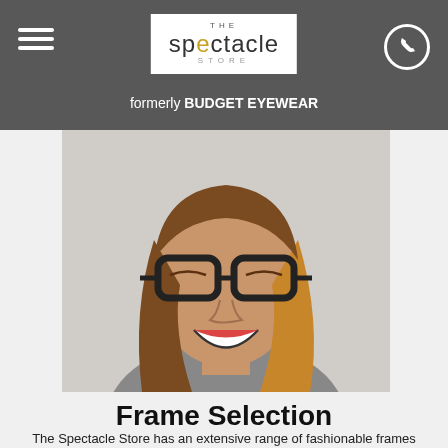The Spectacle Store — formerly BUDGET EYEWEAR
[Figure (photo): Woman smiling broadly wearing large dark-framed cat-eye glasses, long brown hair, grey top, white background]
Frame Selection
The Spectacle Store has an extensive range of fashionable frames to fit any face and any budget!
We pride ourselves on hand picking the best quality eyewear from some of the top brands such as Prada, Versace, Dolce &